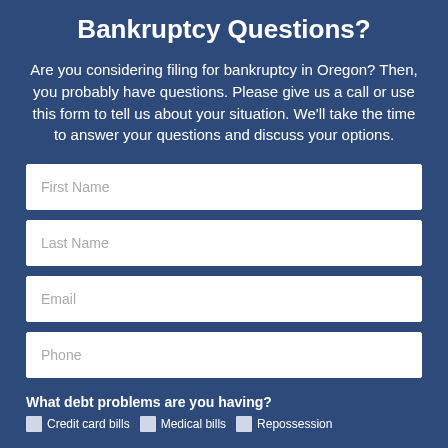Bankruptcy Questions?
Are you considering filing for bankruptcy in Oregon? Then, you probably have questions. Please give us a call or use this form to tell us about your situation. We'll take the time to answer your questions and discuss your options.
[Figure (other): Web form with four input fields: First Name, Last Name, Email, Phone]
What debt problems are you having?
Credit card bills
Medical bills
Repossession